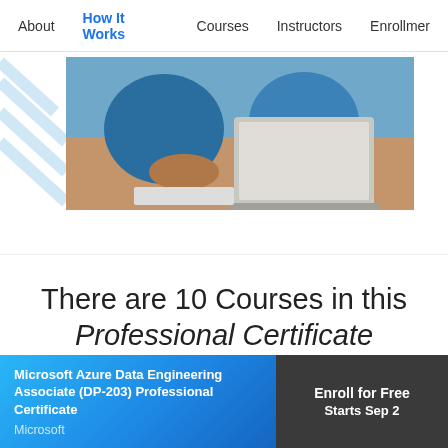About  How It Works  Courses  Instructors  Enrollment
[Figure (photo): Two people working on a laptop, viewed from above, on a wooden desk with a blue geometric/stripe overlay on the left side of the image.]
There are 10 Courses in this Professional Certificate
Microsoft Azure Data Engineering Associate (DP-203) Professional Certificate
Microsoft
Enroll for Free
Starts Sep 2